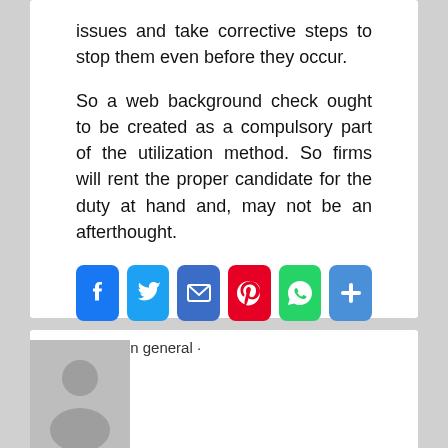issues and take corrective steps to stop them even before they occur.
So a web background check ought to be created as a compulsory part of the utilization method. So firms will rent the proper candidate for the duty at hand and, may not be an afterthought.
[Figure (other): Social share buttons: Facebook, Twitter, Email, Pinterest, WhatsApp, More]
Posted in general -
[Figure (photo): Generic user avatar placeholder image (gray silhouette on gray background)]